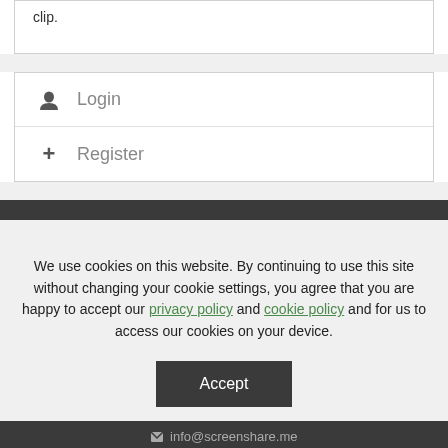clip.
Login
Register
Contact us
124 Horksterry Road,
We use cookies on this website. By continuing to use this site without changing your cookie settings, you agree that you are happy to accept our privacy policy and cookie policy and for us to access our cookies on your device.
info@screenshare.me
Accept
Screenshare on social media